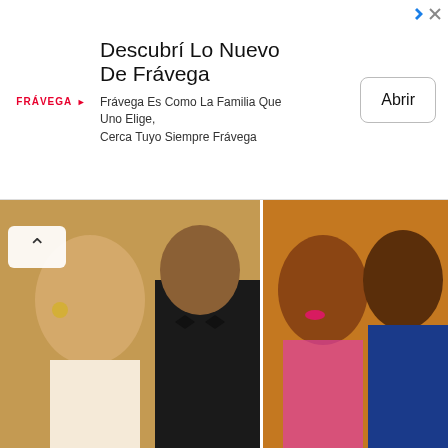[Figure (other): Frávega advertisement banner with logo, headline 'Descubrí Lo Nuevo De Frávega', subtext 'Frávega Es Como La Familia Que Uno Elige, Cerca Tuyo Siempre Frávega', and 'Abrir' button]
[Figure (photo): Four-photo grid collage of couples in traditional and formal attire, related to Zahra Buhari article about brother Yusuf]
Zahra Buhari Celebrates Her Brother, Yusuf And H
ADVERTISEMENT
[Figure (other): Erie Insurance advertisement with 'Complete A Quote' headline, car packing image, subtext 'Finish a quote and discover how an ERIE insurance policy can help protect your car.', and 'Open' button]